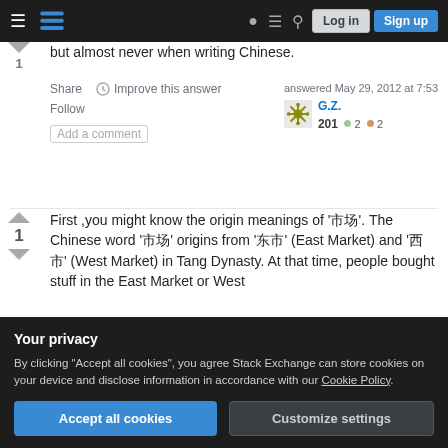Stack Exchange — Log in | Sign up navigation bar
but almost never when writing Chinese.
Share  Improve this answer  Follow  Add a comment
answered May 29, 2012 at 7:53
G.Z.  201  ● 2  ● 2
First ,you might know the origin meanings of '市场'. The Chinese word '市场' origins from '东市' (East Market) and '西市' (West Market) in Tang Dynasty. At that time, people bought stuff in the East Market or West
Your privacy
By clicking "Accept all cookies", you agree Stack Exchange can store cookies on your device and disclose information in accordance with our Cookie Policy.
Accept all cookies   Customize settings
'noun' modifier before '市场'. For example, '网络市场' is not